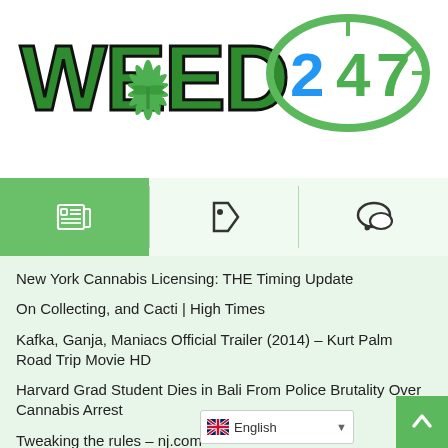[Figure (logo): WEED 247 logo with cannabis leaf and clock-style 247 graphic]
[Figure (infographic): Navigation bar with newspaper icon (active/green), tag icon, and speech bubble icon]
New York Cannabis Licensing: THE Timing Update
On Collecting, and Cacti | High Times
Kafka, Ganja, Maniacs Official Trailer (2014) – Kurt Palm Road Trip Movie HD
Harvard Grad Student Dies in Bali From Police Brutality Over Cannabis Arrest
Tweaking the rules – nj.com